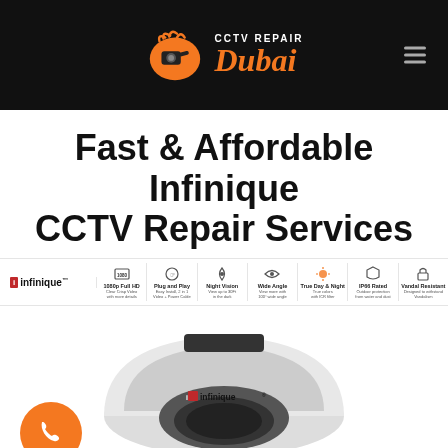CCTV REPAIR Dubai
Fast & Affordable Infinique CCTV Repair Services
[Figure (infographic): Infinique brand feature bar showing product features: 1080p Full HD, Plug and Play, Night Vision, Wide Angle, True Day & Night, IP66 Rated, Vandal Resistant]
[Figure (photo): Infinique dome CCTV camera, white, viewed from front-above angle. Orange phone call button at bottom left. Orange CTA button at bottom center.]